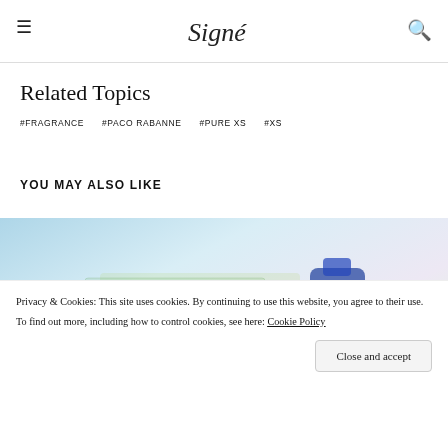Signé (logo with hamburger menu and search icon)
Related Topics
#FRAGRANCE
#PACO RABANNE
#PURE XS
#XS
YOU MAY ALSO LIKE
[Figure (photo): A colorful image with pastel background showing fragrance products; bottom labels: forte_forte and ACQUA]
Privacy & Cookies: This site uses cookies. By continuing to use this website, you agree to their use.
To find out more, including how to control cookies, see here: Cookie Policy
Close and accept